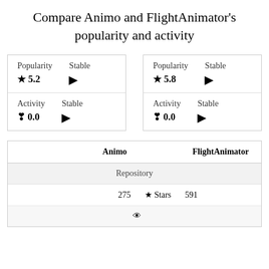Compare Animo and FlightAnimator's popularity and activity
|  | Animo |  | FlightAnimator |
| --- | --- | --- | --- |
| Popularity | ★ 5.2 | Stable ▶ | Popularity | ★ 5.8 | Stable ▶ |
| Activity | ♥ 0.0 | Stable ▶ | Activity | ♥ 0.0 | Stable ▶ |
|  | Animo | FlightAnimator |
| --- | --- | --- |
| Repository |  |  |
| 275  ★ Stars |  | 591 |